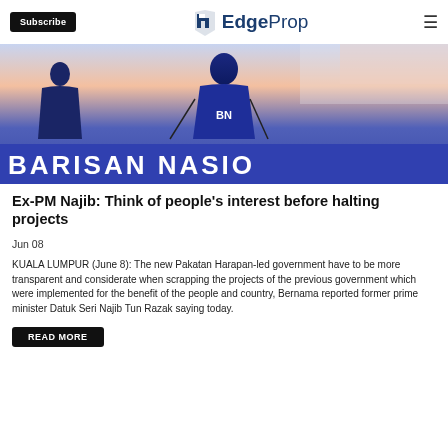Subscribe | EdgeProp
[Figure (photo): Person in blue BN (Barisan Nasional) shirt at a podium with a 'BARISAN NASIO...' banner visible]
Ex-PM Najib: Think of people's interest before halting projects
Jun 08
KUALA LUMPUR (June 8): The new Pakatan Harapan-led government have to be more transparent and considerate when scrapping the projects of the previous government which were implemented for the benefit of the people and country, Bernama reported former prime minister Datuk Seri Najib Tun Razak saying today.
READ MORE